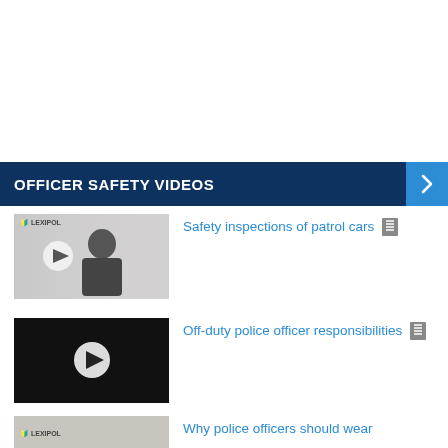OFFICER SAFETY VIDEOS
[Figure (screenshot): Video thumbnail showing a man in a suit against a gray background with Lexipol logo, with play button overlay]
Safety inspections of patrol cars
[Figure (screenshot): Black video thumbnail with white play button triangle in center]
Off-duty police officer responsibilities
[Figure (screenshot): Lexipol branded video thumbnail showing a person]
Why police officers should wear